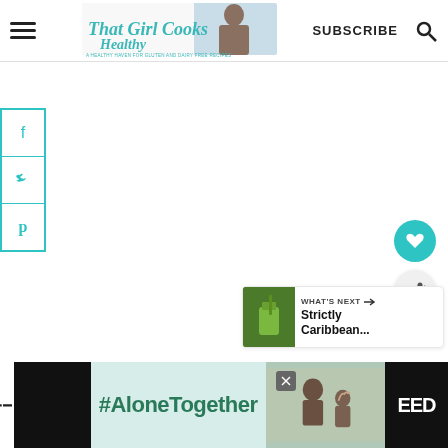That Girl Cooks Healthy — A Healthy Haven for Gluten and Dairy Free Recipes | SUBSCRIBE
[Figure (screenshot): Social media share sidebar with Facebook, Twitter, Pinterest icons in teal border boxes]
[Figure (other): Teal circular heart/favorite button]
[Figure (other): Light gray circular share button]
[Figure (screenshot): What's Next panel showing a green smoothie thumbnail and text 'Strictly Caribbean...']
[Figure (screenshot): Advertisement banner: #AloneTogether with photo of father and child, EED logo]